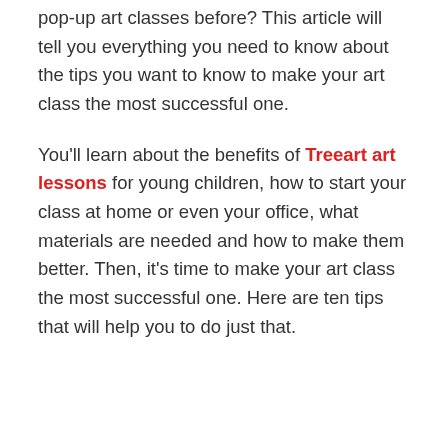pop-up art classes before? This article will tell you everything you need to know about the tips you want to know to make your art class the most successful one.
You'll learn about the benefits of Treeart art lessons for young children, how to start your class at home or even your office, what materials are needed and how to make them better. Then, it's time to make your art class the most successful one. Here are ten tips that will help you to do just that.